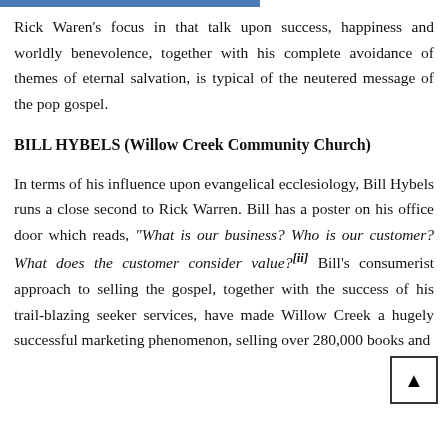Rick Waren's focus in that talk upon success, happiness and worldly benevolence, together with his complete avoidance of themes of eternal salvation, is typical of the neutered message of the pop gospel.
BILL HYBELS (Willow Creek Community Church)
In terms of his influence upon evangelical ecclesiology, Bill Hybels runs a close second to Rick Warren. Bill has a poster on his office door which reads, “What is our business? Who is our customer? What does the customer consider value?”[ii] Bill’s consumerist approach to selling the gospel, together with the success of his trail-blazing seeker services, have made Willow Creek a hugely successful marketing phenomenon, selling over 280,000 books and